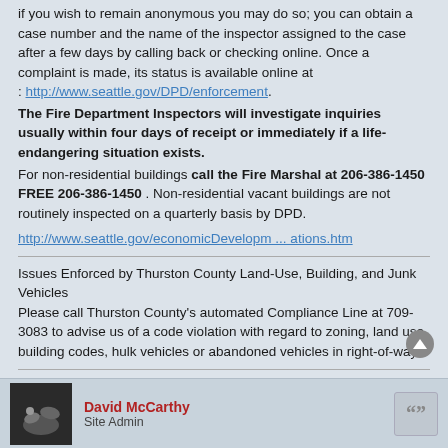if you wish to remain anonymous you may do so; you can obtain a case number and the name of the inspector assigned to the case after a few days by calling back or checking online. Once a complaint is made, its status is available online at : http://www.seattle.gov/DPD/enforcement.
The Fire Department Inspectors will investigate inquiries usually within four days of receipt or immediately if a life-endangering situation exists.
For non-residential buildings call the Fire Marshal at 206-386-1450 FREE 206-386-1450 . Non-residential vacant buildings are not routinely inspected on a quarterly basis by DPD.
http://www.seattle.gov/economicDevelopm ... ations.htm
Issues Enforced by Thurston County Land-Use, Building, and Junk Vehicles
Please call Thurston County's automated Compliance Line at 709-3083 to advise us of a code violation with regard to zoning, land use, building codes, hulk vehicles or abandoned vehicles in right-of-ways.
But he has nothing on at all, cried at last the whole people....
David McCarthy
Site Admin